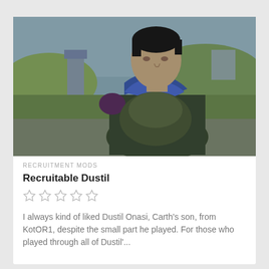[Figure (photo): Screenshot from a video game (KotOR1) showing a male character with dark hair wearing dark armor and a blue scarf, standing outdoors with grass, hills, and structures in the background.]
RECRUITMENT MODS
Recruitable Dustil
☆ ☆ ☆ ☆ ☆
I always kind of liked Dustil Onasi, Carth's son, from KotOR1, despite the small part he played. For those who played through all of Dustil'...